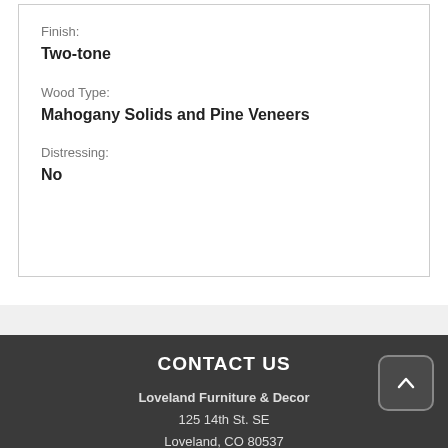Finish:
Two-tone
Wood Type:
Mahogany Solids and Pine Veneers
Distressing:
No
CONTACT US
Loveland Furniture & Decor
125 14th St. SE
Loveland, CO 80537